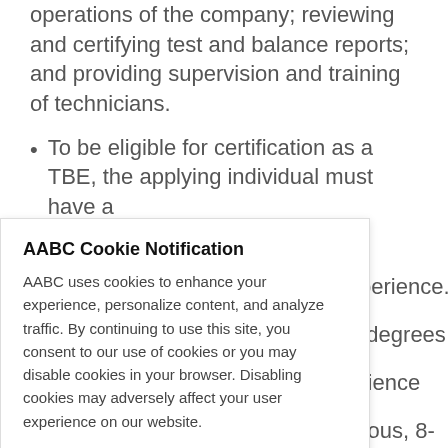operations of the company; reviewing and certifying test and balance reports; and providing supervision and training of technicians.
To be eligible for certification as a TBE, the applying individual must have a
AABC Cookie Notification
AABC uses cookies to enhance your experience, personalize content, and analyze traffic. By continuing to use this site, you consent to our use of cookies or you may disable cookies in your browser. Disabling cookies may adversely affect your user experience on our website.
Agree
Privacy Policy